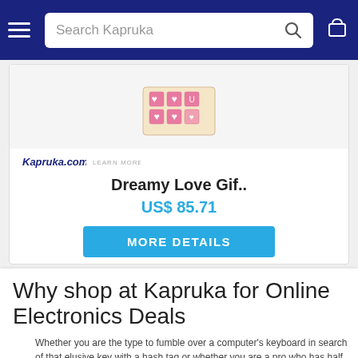Search Kapruka
[Figure (screenshot): Product card showing Dreamy Love Gift box with heart chocolates image, Kapruka.com logo, price US$ 85.71, and More Details button]
Why shop at Kapruka for Online Electronics Deals
Whether you are the type to fumble over a computer's keyboard in search of that elusive key with a hash tag or whether you are a pro who has half